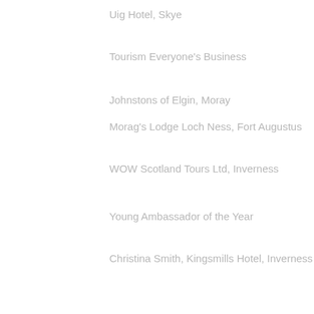Uig Hotel, Skye
Tourism Everyone's Business
Johnstons of Elgin, Moray
Morag's Lodge Loch Ness, Fort Augustus
WOW Scotland Tours Ltd, Inverness
Young Ambassador of the Year
Christina Smith, Kingsmills Hotel, Inverness